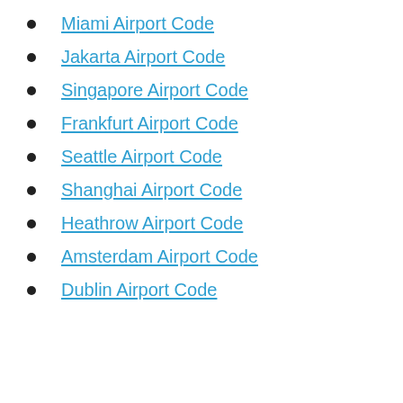Miami Airport Code
Jakarta Airport Code
Singapore Airport Code
Frankfurt Airport Code
Seattle Airport Code
Shanghai Airport Code
Heathrow Airport Code
Amsterdam Airport Code
Dublin Airport Code